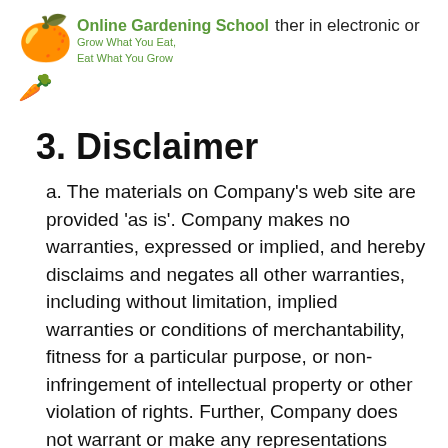Online Gardening School ther in electronic or
Grow What You Eat.
Eat What You Grow
3. Disclaimer
a. The materials on Company’s web site are provided ‘as is’. Company makes no warranties, expressed or implied, and hereby disclaims and negates all other warranties, including without limitation, implied warranties or conditions of merchantability, fitness for a particular purpose, or non-infringement of intellectual property or other violation of rights. Further, Company does not warrant or make any representations concerning the accuracy, likely results, or reliability of